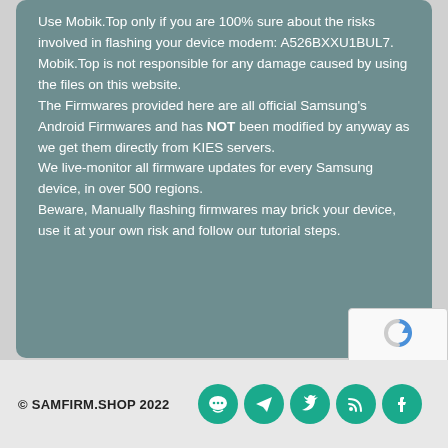Use Mobik.Top only if you are 100% sure about the risks involved in flashing your device modem: A526BXXU1BUL7. Mobik.Top is not responsible for any damage caused by using the files on this website.
The Firmwares provided here are all official Samsung's Android Firmwares and has NOT been modified by anyway as we get them directly from KIES servers.
We live-monitor all firmware updates for every Samsung device, in over 500 regions.
Beware, Manually flashing firmwares may brick your device, use it at your own risk and follow our tutorial steps.
© SAMFIRM.SHOP 2022